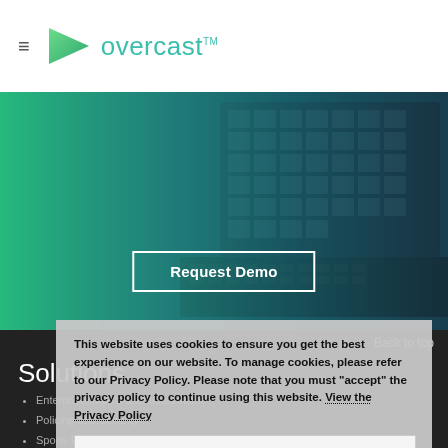≡  overcast™
[Figure (photo): Hero image of a laptop/computer screen with app icons and digital media content, overlaid with a green-to-dark-teal gradient. A 'Request Demo' button is centered at the bottom.]
Back to top
Solutions
Enterprise: Media & Entertainment
Policing and Security
Sports Rights Holders, Broadcasters and Fans
Case Studies
This website uses cookies to ensure you get the best experience on our website. To manage cookies, please refer to our Privacy Policy. Please note that you must "accept" the privacy policy to continue using this website. View the Privacy Policy
Accept